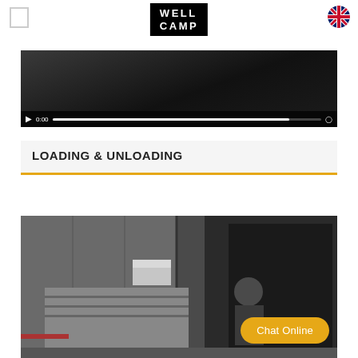WELLCAMP
[Figure (screenshot): Video player strip showing a dark video frame with playback controls at the bottom including play button, time display '0:00', and a nearly full white progress bar]
LOADING & UNLOADING
[Figure (photo): Photo of workers loading or unloading flat-pack panels or prefab building components from inside a large shipping container. One worker visible standing in the container opening.]
Chat Online